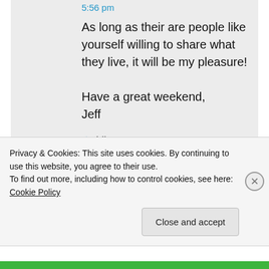5:56 pm
As long as their are people like yourself willing to share what they live, it will be my pleasure!

Have a great weekend,
Jeff
★ Like
chardfoster on June 2, 2012 at 2:59 am
Privacy & Cookies: This site uses cookies. By continuing to use this website, you agree to their use.
To find out more, including how to control cookies, see here: Cookie Policy
Close and accept